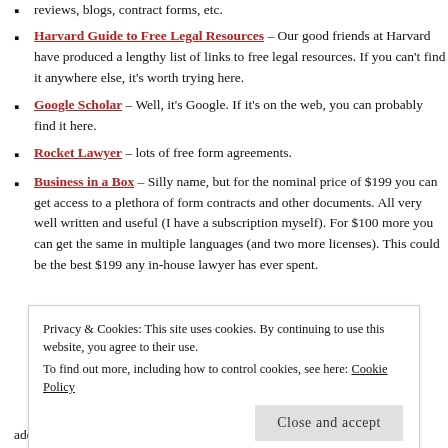reviews, blogs, contract forms, etc.
Harvard Guide to Free Legal Resources – Our good friends at Harvard have produced a lengthy list of links to free legal resources.  If you can't find it anywhere else, it's worth trying here.
Google Scholar – Well, it's Google.  If it's on the web, you can probably find it here.
Rocket Lawyer – lots of free form agreements.
Business in a Box – Silly name, but for the nominal price of $199 you can get access to a plethora of form contracts and other documents.  All very well written and useful (I have a subscription myself).  For $100 more you can get the same in multiple languages (and two more licenses).  This could be the best $199 any in-house lawyer has ever spent.
Privacy & Cookies: This site uses cookies. By continuing to use this website, you agree to their use.
To find out more, including how to control cookies, see here: Cookie Policy
Close and accept
additional headcount.  Look at tools like LawGeex, Determine,